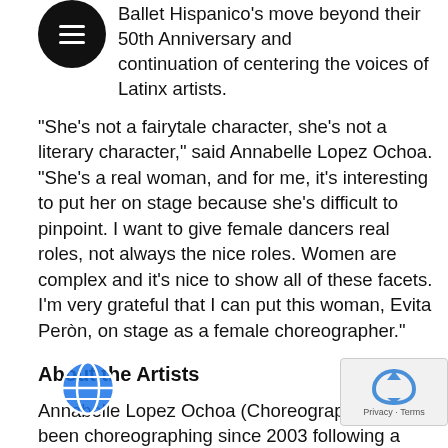Ballet Hispanico's move beyond their 50th Anniversary and continuation of centering the voices of Latinx artists.
“She’s not a fairytale character, she’s not a literary character,” said Annabelle Lopez Ochoa. “She’s a real woman, and for me, it’s interesting to put her on stage because she’s difficult to pinpoint. I want to give female dancers real roles, not always the nice roles. Women are complex and it’s nice to show all of these facets. I’m very grateful that I can put this woman, Evita Peròn, on stage as a female choreographer.”
About the Artists
Annabelle Lopez Ochoa (Choreographer) has been choreographing since 2003 following a twelve-year dance career in various contemporary dance companies throughout Europe. She has created works for sixty dance companies worldwide including Ballet Hispanico, Atlanta Ballet, Cincinnati Ballet, Compañia Nacional de Danza, Dutch